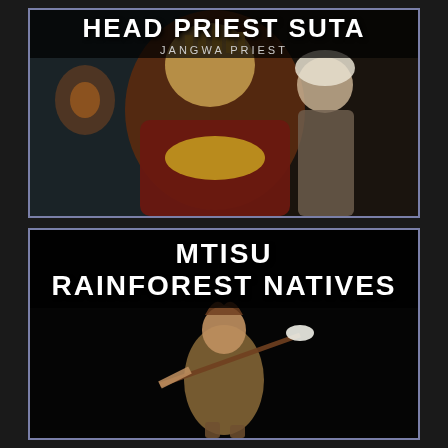[Figure (illustration): Game card showing 'HEAD PRIEST SUTA - JANGWA PRIEST'. Features two fantasy/game characters: a large robed Chinese-style figure with golden crown and beard in the foreground, and a turbaned figure in the background. Dark atmospheric setting with lanterns.]
[Figure (illustration): Game card showing 'MTISU RAINFOREST NATIVES'. Features a female warrior character in tribal attire holding a spear/weapon with feathers, standing against a black background.]